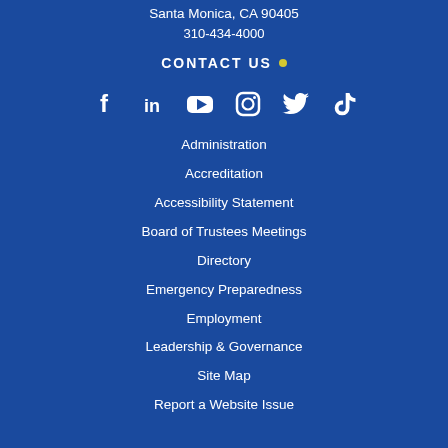Santa Monica, CA 90405
310-434-4000
CONTACT US
[Figure (illustration): Social media icons row: Facebook, LinkedIn, YouTube, Instagram, Twitter, TikTok]
Administration
Accreditation
Accessibility Statement
Board of Trustees Meetings
Directory
Emergency Preparedness
Employment
Leadership & Governance
Site Map
Report a Website Issue